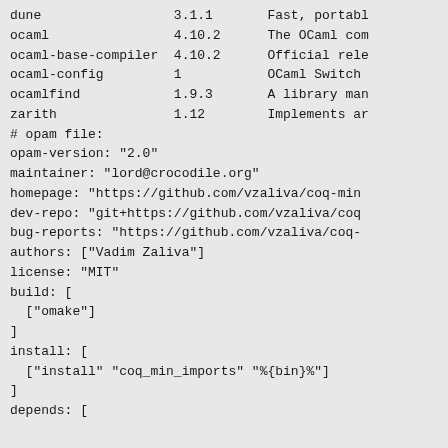dune                 3.1.1       Fast, portabl
ocaml                4.10.2      The OCaml com
ocaml-base-compiler  4.10.2      Official rele
ocaml-config         1           OCaml Switch
ocamlfind            1.9.3       A library man
zarith               1.12        Implements ar
# opam file:
opam-version: "2.0"
maintainer: "lord@crocodile.org"
homepage: "https://github.com/vzaliva/coq-min
dev-repo: "git+https://github.com/vzaliva/coq
bug-reports: "https://github.com/vzaliva/coq-
authors: ["Vadim Zaliva"]
license: "MIT"
build: [
  ["omake"]
]
install: [
  ["install" "coq_min_imports" "%{bin}%"]
]
depends: [